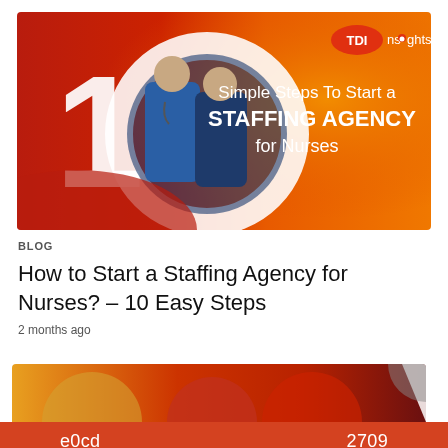[Figure (illustration): TDI Insights branded banner image with orange/red gradient background. Shows a large '10' numeral with two nurses in scrubs. Text reads '10 Simple Steps To Start a STAFFING AGENCY for Nurses'. TDI Insights logo in top right corner.]
BLOG
How to Start a Staffing Agency for Nurses? – 10 Easy Steps
2 months ago
[Figure (illustration): Partial banner image visible at the bottom of the page, showing an orange/red graphic with partial circular shapes and a white triangle. Cropped.]
e0cd    2709